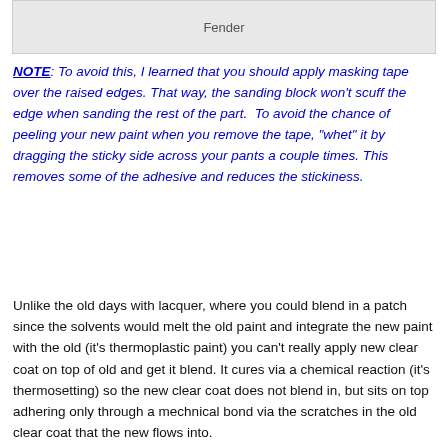[Figure (other): Gray box with text 'Fender' centered, partial image placeholder]
NOTE: To avoid this, I learned that you should apply masking tape over the raised edges. That way, the sanding block won't scuff the edge when sanding the rest of the part.  To avoid the chance of peeling your new paint when you remove the tape, "whet" it by dragging the sticky side across your pants a couple times. This removes some of the adhesive and reduces the stickiness.
Unlike the old days with lacquer, where you could blend in a patch since the solvents would melt the old paint and integrate the new paint with the old (it's thermoplastic paint) you can't really apply new clear coat on top of old and get it blend. It cures via a chemical reaction (it's thermosetting) so the new clear coat does not blend in, but sits on top adhering only through a mechnical bond via the scratches in the old clear coat that the new flows into.